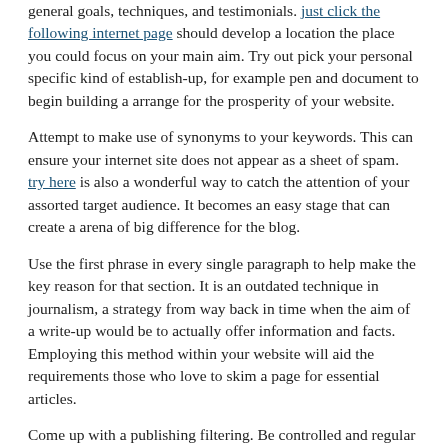general goals, techniques, and testimonials. just click the following internet page should develop a location the place you could focus on your main aim. Try out pick your personal specific kind of establish-up, for example pen and document to begin building a arrange for the prosperity of your website.
Attempt to make use of synonyms to your keywords. This can ensure your internet site does not appear as a sheet of spam. try here is also a wonderful way to catch the attention of your assorted target audience. It becomes an easy stage that can create a arena of big difference for the blog.
Use the first phrase in every single paragraph to help make the key reason for that section. It is an outdated technique in journalism, a strategy from way back in time when the aim of a write-up would be to actually offer information and facts. Employing this method within your website will aid the requirements those who love to skim a page for essential articles.
Come up with a publishing filtering. Be controlled and regular together with your articles or content. Try out to generate a submitting filtration to use each time you publish. It can be as elementary as writing down some queries that your particular